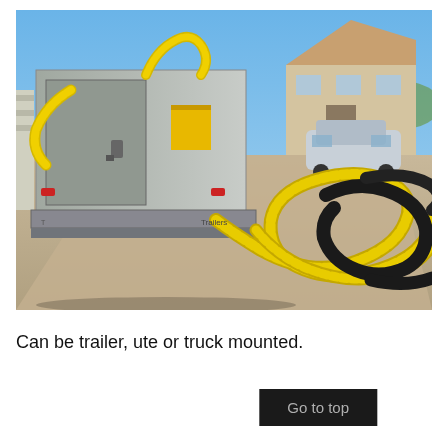[Figure (photo): Outdoor photo of the back of a trailer-mounted industrial cleaning or vacuum unit with yellow and black flexible hoses coiled on a driveway, suburban house and parked car visible in background.]
Can be trailer, ute or truck mounted.
Go to top